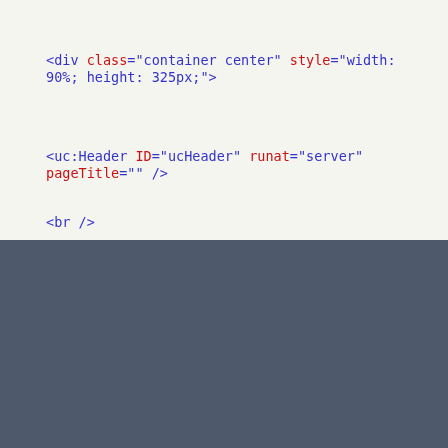<div class="container center" style="width: 90%; height: 325px;">
<uc:Header ID="ucHeader" runat="server" pageTitle="" />
<br />
We use cookies to personalize content and ads, to provide social media features and to analyze our traffic. Some of these cookies also help improve your user experience on our websites, assist with navigation and your ability to provide feedback, and assist with our promotional and marketing efforts. Please read our Cookie Policy for a more detailed description and click on the settings button to customize how the site uses cookies for you.
ACCEPT COOKIES
COOKIES SETTINGS